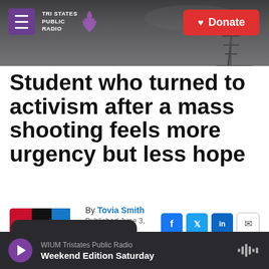[Figure (screenshot): Tri States Public Radio website header with logo, hamburger menu, and Donate button over a gray sky background with radio tower]
Student who turned to activism after a mass shooting feels more urgency but less hope
By Tovia Smith
Published June 3, 2022 at 4:00 PM CDT
[Figure (logo): NPR logo with red N, black P, blue R]
[Figure (infographic): Social sharing icons: Facebook, Twitter, LinkedIn, Email]
WIUM Tristates Public Radio Weekend Edition Saturday